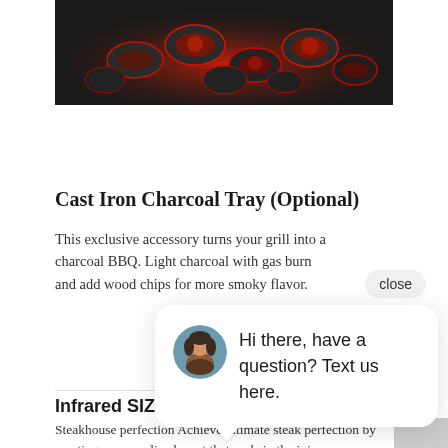[Figure (photo): Close-up photo of glowing red/orange charcoal pieces in a dark cast iron tray, shot from above with dramatic lighting.]
Cast Iron Charcoal Tray (Optional)
This exclusive accessory turns your grill into a charcoal BBQ. Light charcoal with gas burn and add wood chips for more smoky flavor.
[Figure (screenshot): Live chat popup overlay with a female customer service avatar photo and text: Hi there, have a question? Text us here. A 'close' button pill is visible top right of the popup.]
Infrared SIZZLE ZONE Side Burner
Steakhouse perfection Achieve ultimate steak perfection by creating a caramelized crust that seals in the juices.